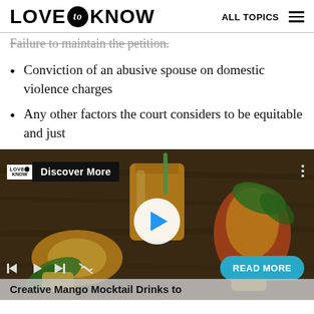LOVE to KNOW  ALL TOPICS
Failure to maintain the petition.
Conviction of an abusive spouse on domestic violence charges
Any other factors the court considers to be equitable and just
[Figure (screenshot): LoveToKnow video player showing mango mocktail drinks image with Discover More overlay, play button, media controls, READ MORE button, and caption 'Creative Mango Mocktail Drinks to']